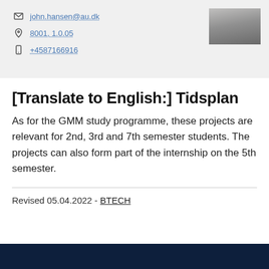john.hansen@au.dk
8001, 1.0.05
+4587166916
[Figure (photo): Profile photo of a person with grey/white hair against a grey background]
[Translate to English:] Tidsplan
As for the GMM study programme, these projects are relevant for 2nd, 3rd and 7th semester students. The projects can also form part of the internship on the 5th semester.
Revised 05.04.2022 - BTECH